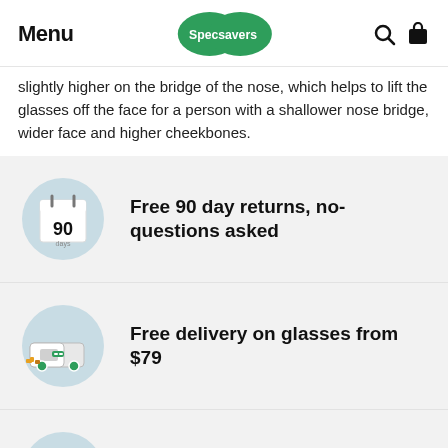Menu | Specsavers
slightly higher on the bridge of the nose, which helps to lift the glasses off the face for a person with a shallower nose bridge, wider face and higher cheekbones.
Free 90 day returns, no-questions asked
Free delivery on glasses from $79
Health fund discounts available